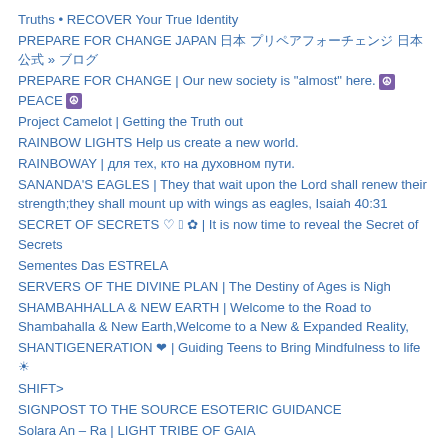Truths • RECOVER Your True Identity
PREPARE FOR CHANGE JAPAN 日本 プリペアフォーチェンジ 日本 公式 » ブログ
PREPARE FOR CHANGE | Our new society is "almost" here. ☮ PEACE ☮
Project Camelot | Getting the Truth out
RAINBOW LIGHTS Help us create a new world.
RAINBOWAY | для тех, кто на духовном пути.
SANANDA'S EAGLES | They that wait upon the Lord shall renew their strength;they shall mount up with wings as eagles, Isaiah 40:31
SECRET OF SECRETS ♡ 𓂀 ✿ | It is now time to reveal the Secret of Secrets
Sementes Das ESTRELA
SERVERS OF THE DIVINE PLAN | The Destiny of Ages is Nigh
SHAMBAHHALLA & NEW EARTH | Welcome to the Road to Shambahalla & New Earth,Welcome to a New & Expanded Reality,
SHANTIGENERATION ❤ | Guiding Teens to Bring Mindfulness to life ☀
SHIFT>
SIGNPOST TO THE SOURCE ESOTERIC GUIDANCE
Solara An – Ra | LIGHT TRIBE OF GAIA